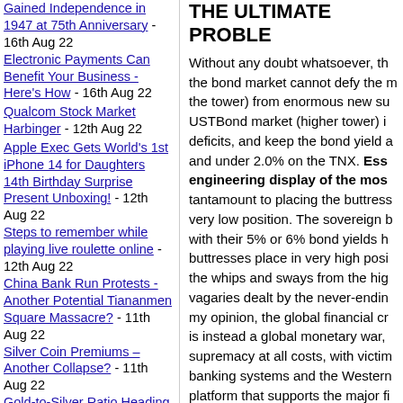Gained Independence in 1947 at 75th Anniversary - 16th Aug 22
Electronic Payments Can Benefit Your Business - Here's How - 16th Aug 22
Qualcom Stock Market Harbinger - 12th Aug 22
Apple Exec Gets World's 1st iPhone 14 for Daughters 14th Birthday Surprise Present Unboxing! - 12th Aug 22
Steps to remember while playing live roulette online - 12th Aug 22
China Bank Run Protests - Another Potential Tiananmen Square Massacre? - 11th Aug 22
Silver Coin Premiums – Another Collapse? - 11th Aug 22
Gold-to-Silver Ratio Heading Lower – Setup Like 1989-03 - 11th Aug 22
Severe Stocks Bear Market: Will You Be...
THE ULTIMATE PROBLE
Without any doubt whatsoever, the bond market cannot defy the m... the tower) from enormous new su... USTBond market (higher tower) i... deficits, and keep the bond yield a... and under 2.0% on the TNX. Essentially, this is an engineering display of the mos... tantamount to placing the buttress... very low position. The sovereign b... with their 5% or 6% bond yields h... buttresses place in very high posi... the whips and sways from the hig... vagaries dealt by the never-endin... my opinion, the global financial cr... is instead a global monetary war, supremacy at all costs, with victim... banking systems and the Western... platform that supports the major fi... collapsing, namely the sovereign... breaking at its weakest points, wh... homogeneous planks in Southern... together. Imagine how the USTrea... look if all 50 states had their own... components to the entire USGovt... $1.5 trillion in debt were apportion...